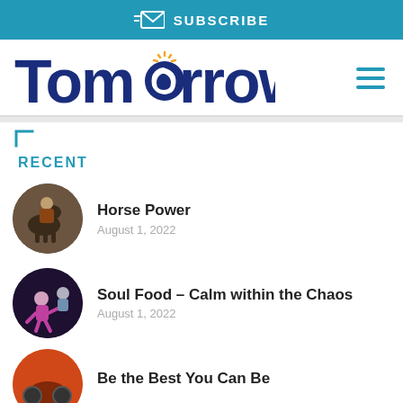SUBSCRIBE
Tomorrow
RECENT
Horse Power
August 1, 2022
Soul Food – Calm within the Chaos
August 1, 2022
Be the Best You Can Be